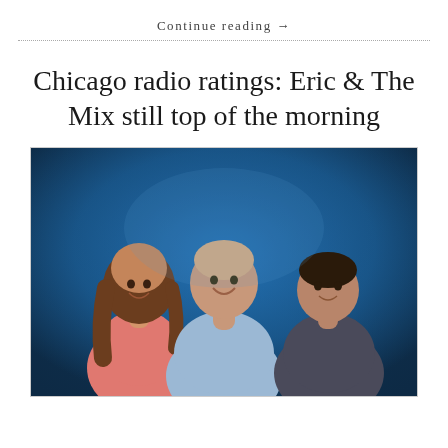Continue reading →
Chicago radio ratings: Eric & The Mix still top of the morning
[Figure (photo): Three radio hosts (two men and one woman) posing together against a blue studio background. The woman on the left wears a pink top, the tall man in the center wears a light blue shirt, and the man on the right wears a dark polo shirt.]